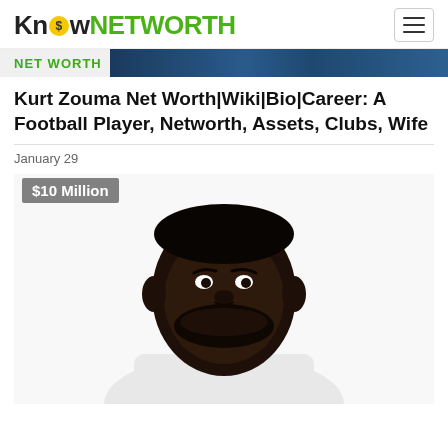KnowNETWORTH
NET WORTH
Kurt Zouma Net Worth|Wiki|Bio|Career: A Football Player, Networth, Assets, Clubs, Wife
January 29
[Figure (photo): Portrait photo of Kurt Zouma, a Black male footballer with a beard, wearing a white jersey with dark collar, smiling at the camera against a white background. A grey badge reading '$10 Million' overlays the top-left of the image.]